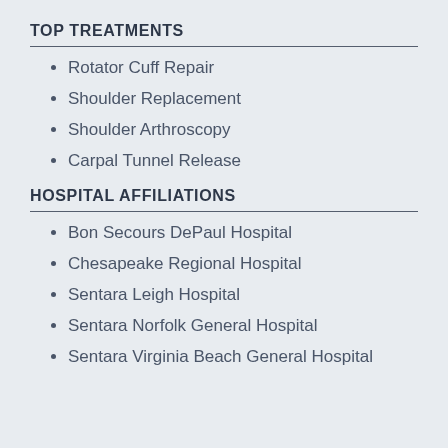TOP TREATMENTS
Rotator Cuff Repair
Shoulder Replacement
Shoulder Arthroscopy
Carpal Tunnel Release
HOSPITAL AFFILIATIONS
Bon Secours DePaul Hospital
Chesapeake Regional Hospital
Sentara Leigh Hospital
Sentara Norfolk General Hospital
Sentara Virginia Beach General Hospital